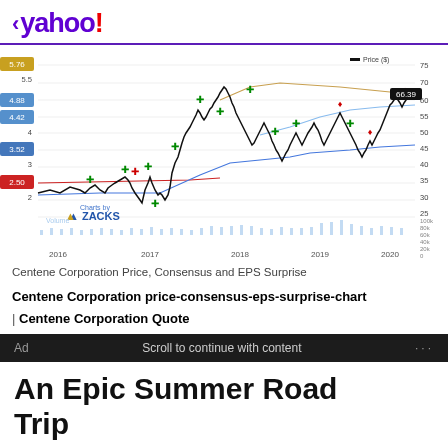< yahoo!
[Figure (continuous-plot): Centene Corporation Price, Consensus and EPS Surprise chart from Zacks. Shows stock price (black line) from 2016 to 2020, ranging roughly $25-$75, with EPS labels on left axis (5.76, 5.5, 4.88, 4.42, 4, 3.52, 3, 2.50, 2), price scale on right axis (75, 70, 60, 55, 50, 45, 40, 35, 30, 25, 20k), current price label 66.39, buy/sell markers (green up arrows, red down arrows), consensus lines (blue, tan), and volume bars at bottom. X-axis shows years 2016, 2017, 2018, 2019, 2020.]
Centene Corporation Price, Consensus and EPS Surprise
Centene Corporation price-consensus-eps-surprise-chart | Centene Corporation Quote
Ad   Scroll to continue with content   ...
An Epic Summer Road Trip